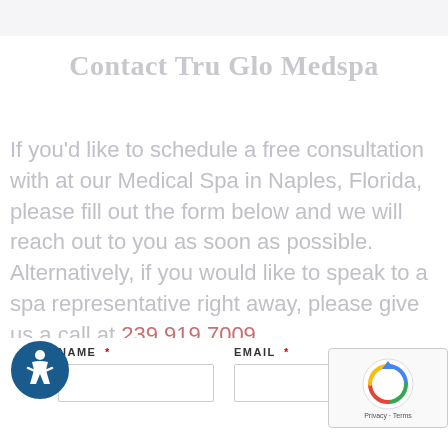Contact Tru Glo Medspa
If you'd like to schedule a free consultation with at our Medical Spa in Naples, Florida, please fill out the form below and we will reach out to you as soon as possible. Alternatively, if you would like to speak to a spa representative right away, please give us a call at 239.919.7009
NAME * [form field]
EMAIL * [form field]